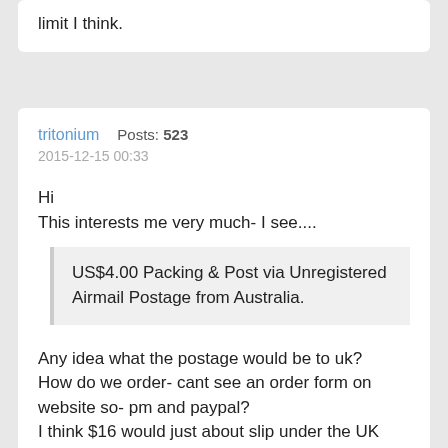limit I think.
tritonium   Posts: 523
2015-12-15 00:33
Hi
This interests me very much- I see....
US$4.00 Packing & Post via Unregistered Airmail Postage from Australia.
Any idea what the postage would be to uk?
How do we order- cant see an order form on website so- pm and paypal?
I think $16 would just about slip under the UK customs radar - I don't mind paying the UK tax, its paying as much again to have the postie collect it!!!

Dave